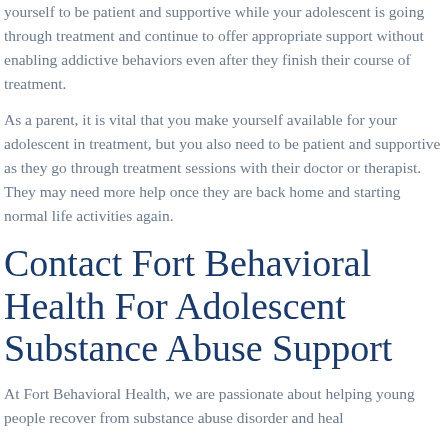yourself to be patient and supportive while your adolescent is going through treatment and continue to offer appropriate support without enabling addictive behaviors even after they finish their course of treatment.
As a parent, it is vital that you make yourself available for your adolescent in treatment, but you also need to be patient and supportive as they go through treatment sessions with their doctor or therapist. They may need more help once they are back home and starting normal life activities again.
Contact Fort Behavioral Health For Adolescent Substance Abuse Support
At Fort Behavioral Health, we are passionate about helping young people recover from substance abuse disorder and heal